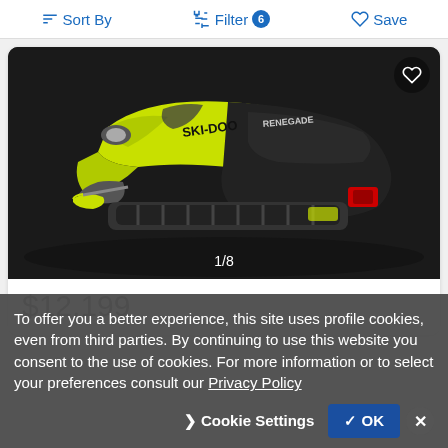Sort By   Filter 6   Save
[Figure (photo): Yellow and black Ski-Doo Renegade snowmobile on dark background, photo 1 of 8]
$12,199
To offer you a better experience, this site uses profile cookies, even from third parties. By continuing to use this website you consent to the use of cookies. For more information or to select your preferences consult our Privacy Policy
Cookie Settings   ✓ OK   ✕